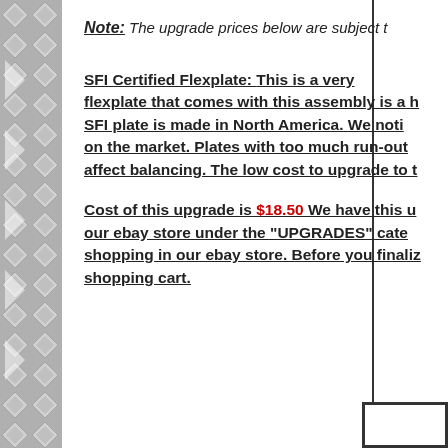Note: The upgrade prices below are subject t
SFI Certified Flexplate: This is a very flexplate that comes with this assembly is a h SFI plate is made in North America. We noti on the market. Plates with too much run-out affect balancing. The low cost to upgrade to t
Cost of this upgrade is $18.50 We have this u our ebay store under the "UPGRADES" cate shopping in our ebay store. Before you finaliz shopping cart.